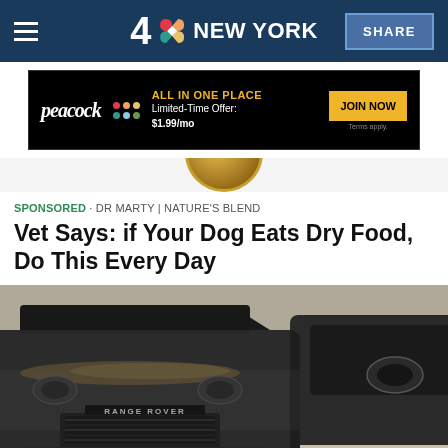4 NBC NEW YORK  SHARE
[Figure (screenshot): Peacock streaming service advertisement banner: black background with peacock logo, 'ALL IN ONE PLACE' in yellow, 'Limited-Time Offer: $1.99/mo', and 'JOIN NOW' yellow button]
[Figure (photo): Partial circular cropped image showing a decorative golden/brown design, partially visible at top of article]
SPONSORED · DR MARTY | NATURE'S BLEND
Vet Says: if Your Dog Eats Dry Food, Do This Every Day
[Figure (photo): Front view of a dirty black Range Rover SUV covered in dust and debris, parked next to another dark vehicle]